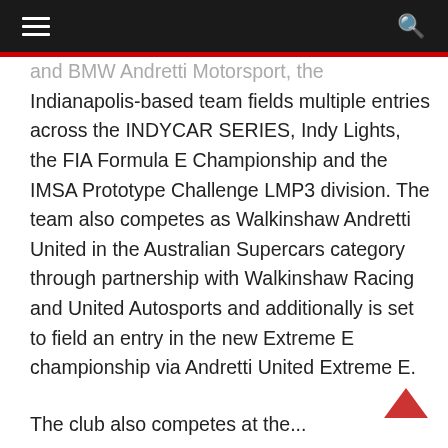≡  🔍
and BMW Andretti Motorsport, the Indianapolis-based team fields multiple entries across the INDYCAR SERIES, Indy Lights, the FIA Formula E Championship and the IMSA Prototype Challenge LMP3 division. The team also competes as Walkinshaw Andretti United in the Australian Supercars category through partnership with Walkinshaw Racing and United Autosports and additionally is set to field an entry in the new Extreme E championship via Andretti United Extreme E.
The club also competes at the...